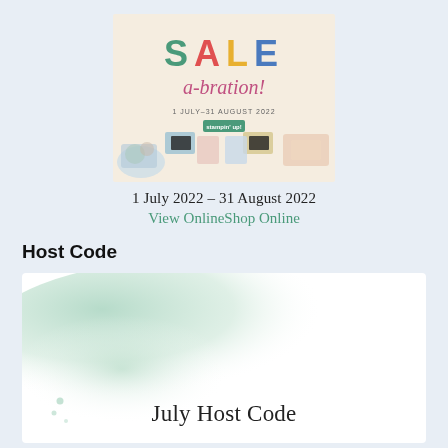[Figure (illustration): Sale-a-bration promotional banner showing colorful text 'SALE a-bration!' with date '1 JULY-31 AUGUST 2022' and craft products displayed below]
1 July 2022 – 31 August 2022
View OnlineShop Online
Host Code
[Figure (illustration): White card with green watercolor wash background in upper-left area, containing text 'July Host Code' at the bottom center]